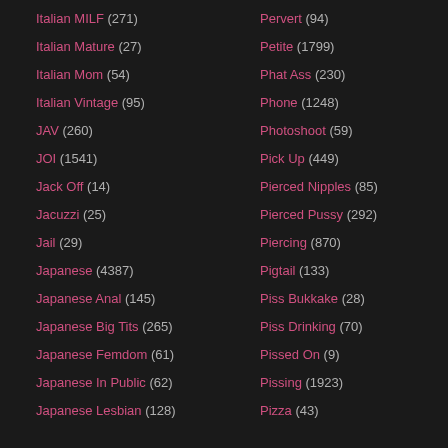Italian MILF (271)
Italian Mature (27)
Italian Mom (54)
Italian Vintage (95)
JAV (260)
JOI (1541)
Jack Off (14)
Jacuzzi (25)
Jail (29)
Japanese (4387)
Japanese Anal (145)
Japanese Big Tits (265)
Japanese Femdom (61)
Japanese In Public (62)
Japanese Lesbian (128)
Pervert (94)
Petite (1799)
Phat Ass (230)
Phone (1248)
Photoshoot (59)
Pick Up (449)
Pierced Nipples (85)
Pierced Pussy (292)
Piercing (870)
Pigtail (133)
Piss Bukkake (28)
Piss Drinking (70)
Pissed On (9)
Pissing (1923)
Pizza (43)